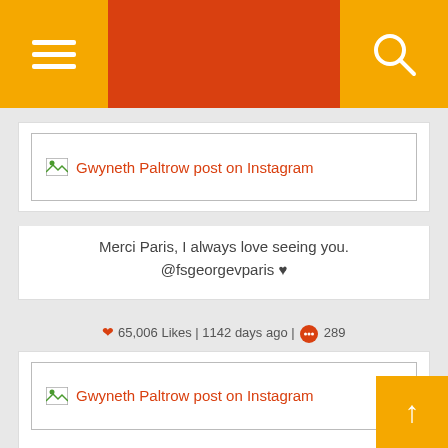Navigation bar with hamburger menu and search icon
[Figure (screenshot): Broken image placeholder: Gwyneth Paltrow post on Instagram]
Merci Paris, I always love seeing you. @fsgeorgevparis ♥
❤ 65,006 Likes | 1142 days ago | 💬 289
[Figure (screenshot): Broken image placeholder: Gwyneth Paltrow post on Instagram]
☺️🎞
❤ 287,463 Likes | 1144 days ago | 💬 1,386
[Figure (screenshot): Broken image placeholder: Gwyneth Paltrow post on Instagram]